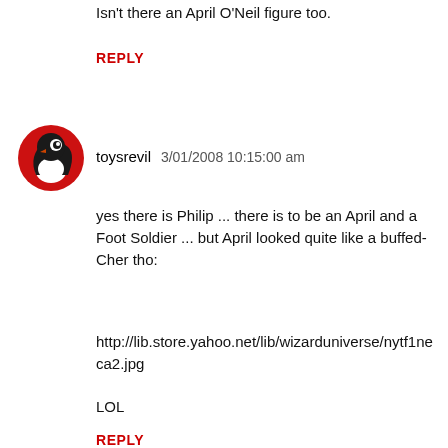Isn't there an April O'Neil figure too.
REPLY
[Figure (photo): Round avatar icon showing a cartoon bird/character with a red circle background and white/black design]
toysrevil  3/01/2008 10:15:00 am
yes there is Philip ... there is to be an April and a Foot Soldier ... but April looked quite like a buffed-Cher tho:
http://lib.store.yahoo.net/lib/wizarduniverse/nytf1neca2.jpg
LOL
REPLY